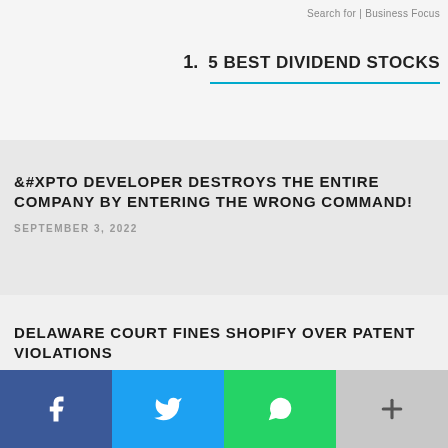Search for | Business Focus
1. 5 BEST DIVIDEND STOCKS
CRYPTO DEVELOPER DESTROYS THE ENTIRE COMPANY BY ENTERING THE WRONG COMMAND!
SEPTEMBER 3, 2022
DELAWARE COURT FINES SHOPIFY OVER PATENT VIOLATIONS
SEPTEMBER 2, 2022
LAXMAN NARASIMHAN GETS $1.3 ANNUAL PACKAGE AS CEO OF STARBUCKS
SEPTEMBER 2, 2022
[Figure (infographic): Social share bar with Facebook, Twitter, WhatsApp, and more buttons]